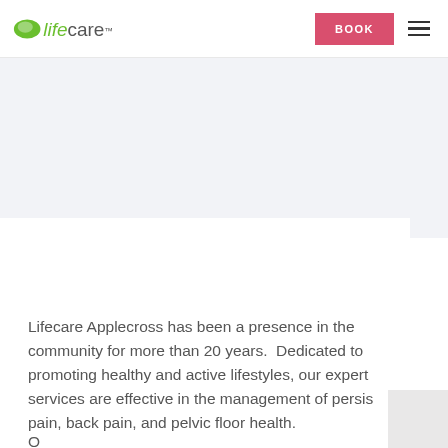Lifecare | BOOK
[Figure (other): Light gray hero/banner area placeholder]
Lifecare Applecross has been a presence in the community for more than 20 years.  Dedicated to promoting healthy and active lifestyles, our expert services are effective in the management of persistent pain, back pain, and pelvic floor health.